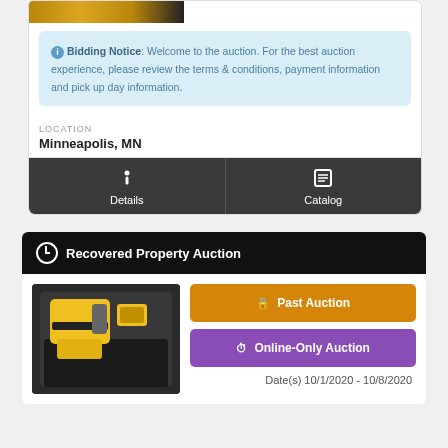[Figure (photo): Partial view of a guitar image at the top of the card]
Bidding Notice: Welcome to the auction. For the best auction experience, please review the terms & conditions, payment information and pick up day information.
LOCATION
Minneapolis, MN
Details
Catalog
Recovered Property Auction
[Figure (photo): Photo of yellow power tools (nail gun/jigsaw) in a black case]
Past Auction
Online-Only Auction
Date(s) 10/1/2020 - 10/8/2020